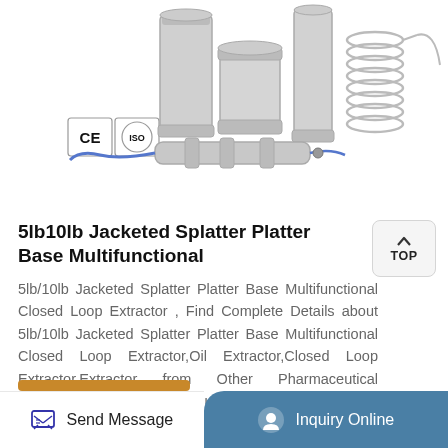[Figure (photo): Product photo of 5lb/10lb Jacketed Splatter Platter Base Multifunctional Closed Loop Extractor showing stainless steel equipment with CE and ISO certification badges]
5lb10lb Jacketed Splatter Platter Base Multifunctional
5lb/10lb Jacketed Splatter Platter Base Multifunctional Closed Loop Extractor , Find Complete Details about 5lb/10lb Jacketed Splatter Platter Base Multifunctional Closed Loop Extractor,Oil Extractor,Closed Loop Extractor,Extractor from Other Pharmaceutical Machinery Supplier or Manufacturer-Wenzhou Rifeng Technology Co., Ltd.
Send Message | Inquiry Online